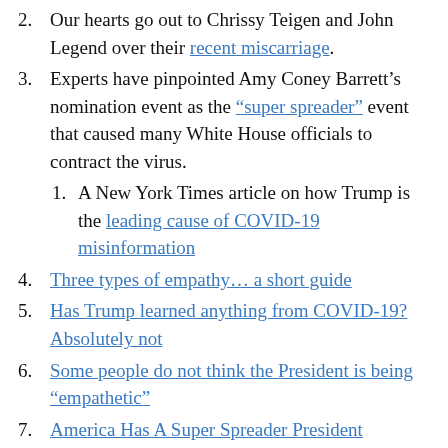Our hearts go out to Chrissy Teigen and John Legend over their recent miscarriage.
Experts have pinpointed Amy Coney Barrett’s nomination event as the “super spreader” event that caused many White House officials to contract the virus.
A New York Times article on how Trump is the leading cause of COVID-19 misinformation
Three types of empathy… a short guide
Has Trump learned anything from COVID-19? Absolutely not
Some people do not think the President is being “empathetic”
America Has A Super Spreader President
A fun article on the etiquette of Zoom.